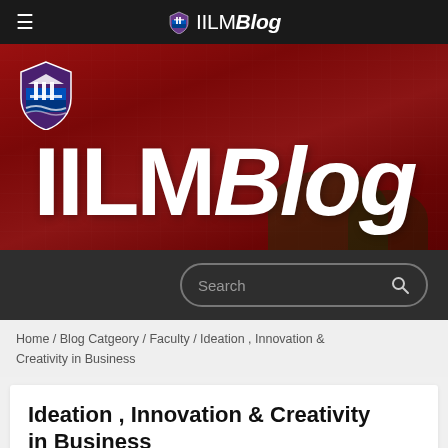≡  IILM Blog
[Figure (photo): IILM Blog banner with red-toned campus building in background, white IILM Blog text overlay and shield logo]
Search
Home / Blog Catgeory / Faculty / Ideation , Innovation & Creativity in Business
Ideation , Innovation & Creativity in Business
Faculty, General Blog  |  04 May  |  Nidhi Piplani  |  Best BBA College, Business, Case Studies, Company Visits, Delhi, entrepreneurship, Exceptional Programme, IILM, IILMUBS, innovation, International Degree, Internships,